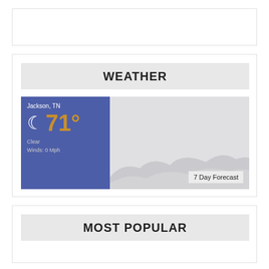[Figure (other): Empty white advertisement box with thin border]
WEATHER
[Figure (infographic): Weather widget showing Jackson, TN with 71° clear night, crescent moon icon, winds 0 mph on blue left panel, and cloudy sky image on right panel with '7 Day Forecast' label]
MOST POPULAR